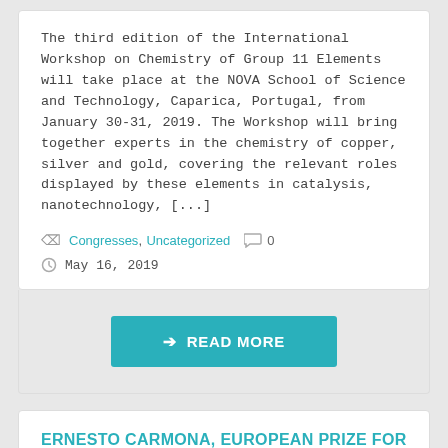The third edition of the International Workshop on Chemistry of Group 11 Elements will take place at the NOVA School of Science and Technology, Caparica, Portugal, from January 30-31, 2019. The Workshop will bring together experts in the chemistry of copper, silver and gold, covering the relevant roles displayed by these elements in catalysis, nanotechnology, [...]
Congresses, Uncategorized  0
May 16, 2019
→ READ MORE
ERNESTO CARMONA, EUROPEAN PRIZE FOR ORGANOMETALLIC CHEMISTRY 2019